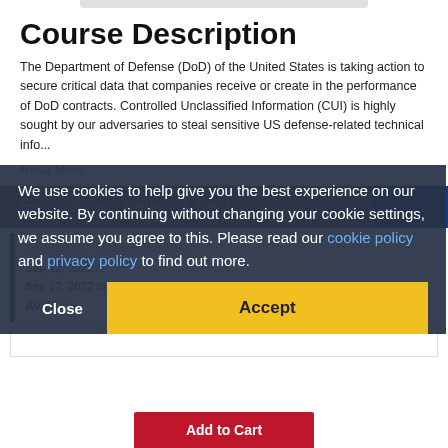Course Description
The Department of Defense (DoD) of the United States is taking action to secure critical data that companies receive or create in the performance of DoD contracts. Controlled Unclassified Information (CUI) is highly sought by our adversaries to steal sensitive US defense-related technical info...
Read More
We use cookies to help give you the best experience on our website. By continuing without changing your cookie settings, we assume you agree to this. Please read our cookie policy and privacy policy to find out more.
CMMC100  2026MMC100A
Sep 12, 2022
Sep 12, 2022 to Sep 23, 2022
Available
Close
Accept
Add to Cart